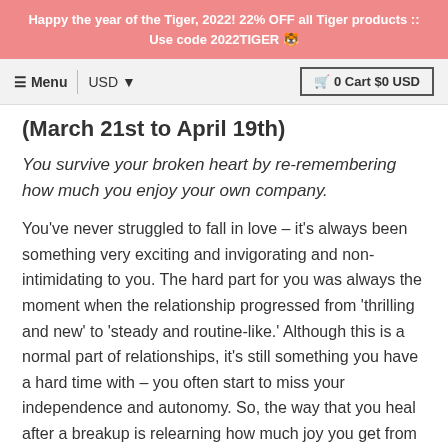Happy the year of the Tiger, 2022! 22% OFF all Tiger products :: Use code 2022TIGER 🐯
≡ Menu | USD ▼  🛒 0 Cart $0 USD
(March 21st to April 19th)
You survive your broken heart by re-remembering how much you enjoy your own company.
You've never struggled to fall in love – it's always been something very exciting and invigorating and non-intimidating to you. The hard part for you was always the moment when the relationship progressed from 'thrilling and new' to 'steady and routine-like.' Although this is a normal part of relationships, it's still something you have a hard time with – you often start to miss your independence and autonomy. So, the way that you heal after a breakup is relearning how much joy you get from being by yourself. Even though you miss your partner a